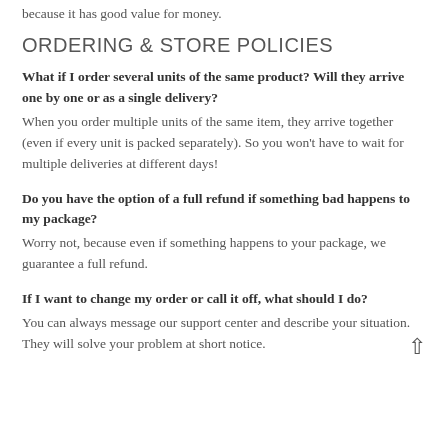because it has good value for money.
ORDERING & STORE POLICIES
What if I order several units of the same product? Will they arrive one by one or as a single delivery?
When you order multiple units of the same item, they arrive together (even if every unit is packed separately). So you won't have to wait for multiple deliveries at different days!
Do you have the option of a full refund if something bad happens to my package?
Worry not, because even if something happens to your package, we guarantee a full refund.
If I want to change my order or call it off, what should I do?
You can always message our support center and describe your situation. They will solve your problem at short notice.